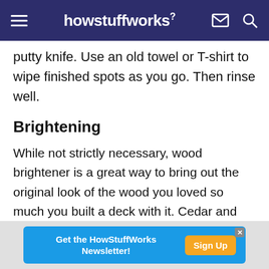howstuffworks
putty knife. Use an old towel or T-shirt to wipe finished spots as you go. Then rinse well.
Brightening
While not strictly necessary, wood brightener is a great way to bring out the original look of the wood you loved so much you built a deck with it. Cedar and redwood benefit from a brightening product especially, but it can make any wood look fresher and has the added benefit of removing rust and mildew.
[Figure (infographic): Advertisement banner: 'Get the HowStuffWorks Newsletter!' with a 'Sign Up' button in orange on a blue background]